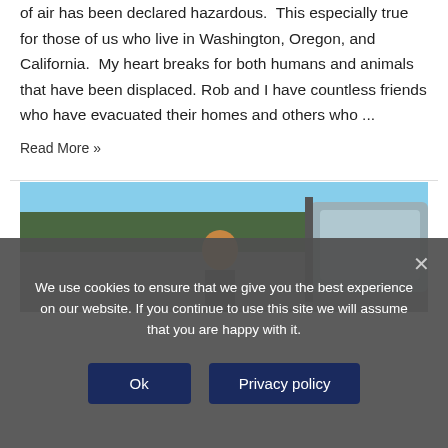of air has been declared hazardous.  This especially true for those of us who live in Washington, Oregon, and California.  My heart breaks for both humans and animals that have been displaced. Rob and I have countless friends who have evacuated their homes and others who ...
Read More »
[Figure (photo): Outdoor photo showing a person near a vehicle with trees and blue sky in the background, partially visible.]
We use cookies to ensure that we give you the best experience on our website. If you continue to use this site we will assume that you are happy with it.
Ok
Privacy policy